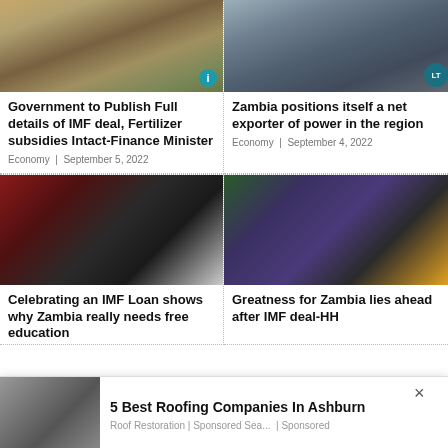[Figure (photo): Man in suit speaking at a podium with flags in background]
[Figure (photo): Electrical power substation infrastructure]
Government to Publish Full details of IMF deal, Fertilizer subsidies Intact-Finance Minister
Economy | September 5, 2022
Zambia positions itself a net exporter of power in the region
Economy | September 4, 2022
[Figure (photo): Woman speaking at a microphone at a podium]
[Figure (photo): Two people in formal attire holding an orange document at an event]
Celebrating an IMF Loan shows why Zambia really needs free education
Greatness for Zambia lies ahead after IMF deal-HH
[Figure (photo): Damaged roof tiles on a house]
5 Best Roofing Companies In Ashburn
Roof Restoration | Sponsored Sea... | Sponsored